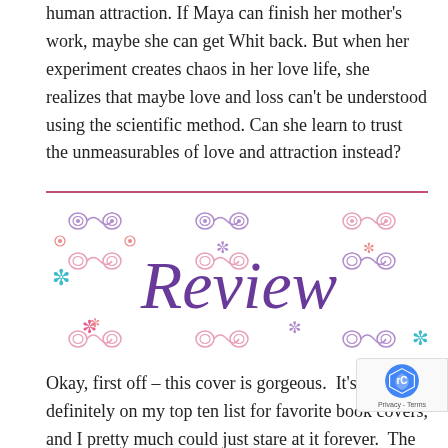human attraction. If Maya can finish her mother's work, maybe she can get Whit back. But when her experiment creates chaos in her love life, she realizes that maybe love and loss can't be understood using the scientific method. Can she learn to trust the unmeasurables of love and attraction instead?
[Figure (illustration): Decorative 'Review' banner with floral and scroll ornaments in pink, purple, and teal colors on white background]
Okay, first off – this cover is gorgeous.  It's definitely on my top ten list for favorite book covers, and I pretty much could just stare at it forever.  The colors are pretty, the simplistic, yet stunning theme is amaz and I can't stop rambling about how awesome the